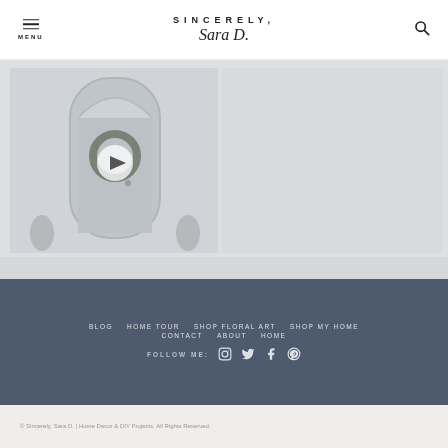SINCERELY, Sara D. | MENU | Search
[Figure (screenshot): Video thumbnail showing a front door with wreath and a play button overlay, with a lighter gray panel to the right]
BLOG  HOME TOUR  SHOP FLORAL ART  SHOP MY HOME  CONTACT  ABOUT  HOME  FOLLOW ME: [Instagram] [Twitter] [Facebook] [Pinterest]
© Sincerely, Sara D. | Home Decor & DIY Projects. All Rights Reserved.